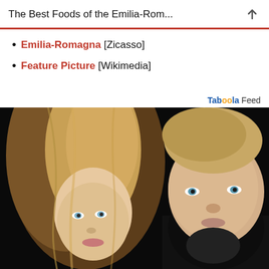The Best Foods of the Emilia-Rom...
Emilia-Romagna [Zicasso]
Feature Picture [Wikimedia]
Taboola Feed
[Figure (photo): A man and a woman posing together against a dark background. The woman has long blonde hair and blue eyes, positioned on the left. The man has short blonde/light brown hair, blue eyes, and is wearing a dark shirt, positioned on the right.]
The Most Famous...